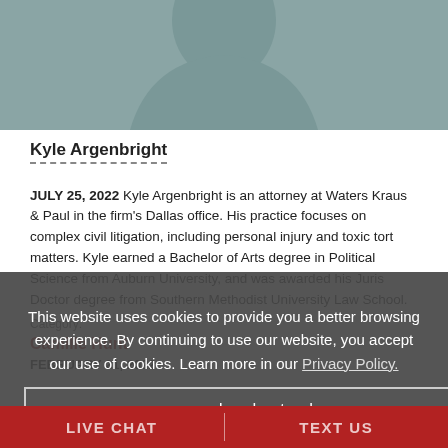[Figure (photo): Partial profile photo placeholder: grey silhouette/headshot background image for attorney, cut off at top]
Kyle Argenbright
JULY 25, 2022 Kyle Argenbright is an attorney at Waters Kraus & Paul in the firm's Dallas office. His practice focuses on complex civil litigation, including personal injury and toxic tort matters. Kyle earned a Bachelor of Arts degree in Political Science from Auburn University, and was awarded his Juris Doctor degree from Southern Methodist University Law School.
Category:
Camille Hunt
FEBRUARY 21, 2022
This website uses cookies to provide you a better browsing experience. By continuing to use our website, you accept our use of cookies. Learn more in our Privacy Policy.
I understand
LIVE CHAT | TEXT US